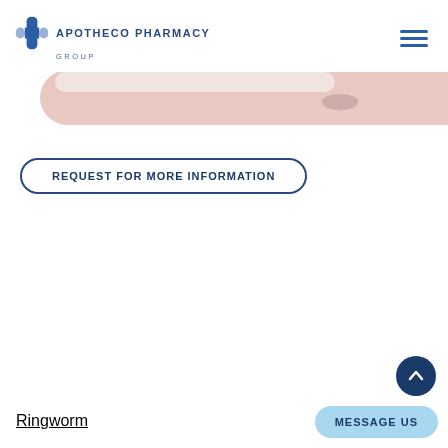APOTHECO PHARMACY GROUP
[Figure (screenshot): Partial view of a tablet device showing a light pink/beige rounded edge against a white background]
REQUEST FOR MORE INFORMATION
Ringworm
MESSAGE US